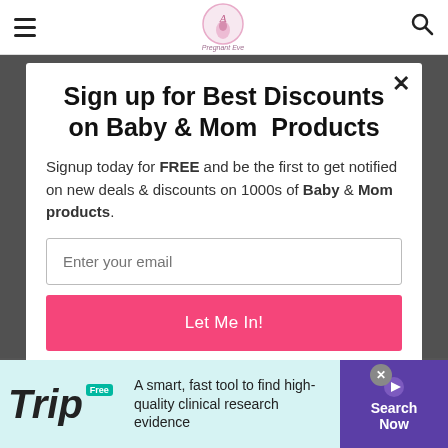[Figure (screenshot): Website navigation bar with hamburger menu icon on left, a pregnancy/mom blog logo in center, and search icon on right]
Sign up for Best Discounts on Baby & Mom  Products
Signup today for FREE and be the first to get notified on new deals & discounts on 1000s of Baby & Mom products.
[Figure (screenshot): Email input field with placeholder text 'Enter your email' and a pink 'Let Me In!' submit button]
[Figure (screenshot): Advertisement banner for Trip - 'A smart, fast tool to find high-quality clinical research evidence' with Search Now button]